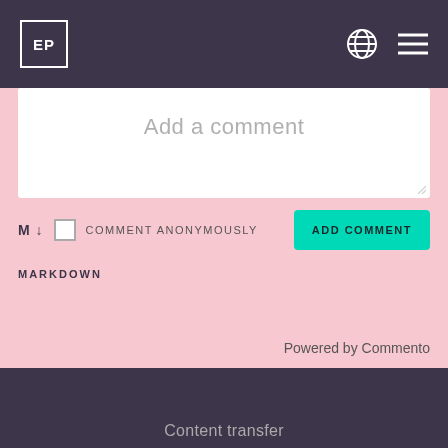EP [logo] [globe icon] [menu icon]
Add a comment
M ↓  COMMENT ANONYMOUSLY  ADD COMMENT
MARKDOWN
Powered by Commento
Content transfer